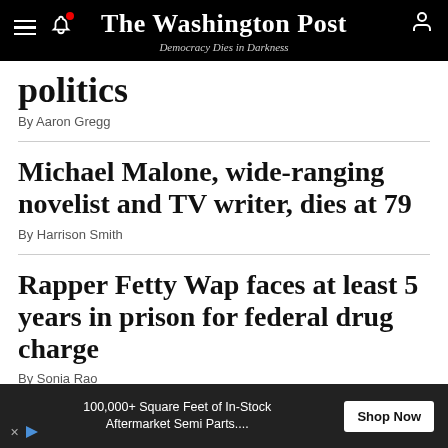The Washington Post — Democracy Dies in Darkness
politics
By Aaron Gregg
Michael Malone, wide-ranging novelist and TV writer, dies at 79
By Harrison Smith
Rapper Fetty Wap faces at least 5 years in prison for federal drug charge
By Sonia Rao
Review
John Boyega rages against injustice in the fact-based 'Breaking'
100,000+ Square Feet of In-Stock Aftermarket Semi Parts....